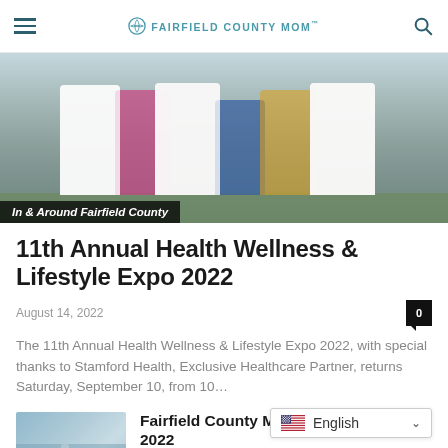FAIRFIELD COUNTY MOM
[Figure (photo): Children wearing white lab coats outdoors at a health event. A banner overlay reads 'In & Around Fairfield County'.]
In & Around Fairfield County
11th Annual Health Wellness & Lifestyle Expo 2022
August 14, 2022
The 11th Annual Health Wellness & Lifestyle Expo 2022, with special thanks to Stamford Health, Exclusive Healthcare Partner, returns Saturday, September 10, from 10...
[Figure (photo): Thumbnail image of bottles and products arranged on a table, related to Fairfield County Mom Favorite Things 2022 article.]
Fairfield County Mom Favorite Things 2022
August 11, 2022